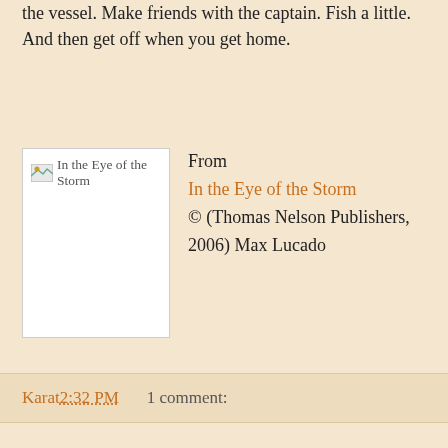the vessel. Make friends with the captain. Fish a little. And then get off when you get home.
[Figure (illustration): Book cover image placeholder for 'In the Eye of the Storm' with broken image icon]
From
In the Eye of the Storm
© (Thomas Nelson Publishers, 2006) Max Lucado
Kar at 2:32 PM    1 comment:
Monday, January 12, 2009
12 years ago...
today, January 12th, at 8:32pm, I gave birth to our oldest son, Cole Gregory. Labor began with my water breaking at midnight the night before, and 20 very long hours later, he arrived. He weighed